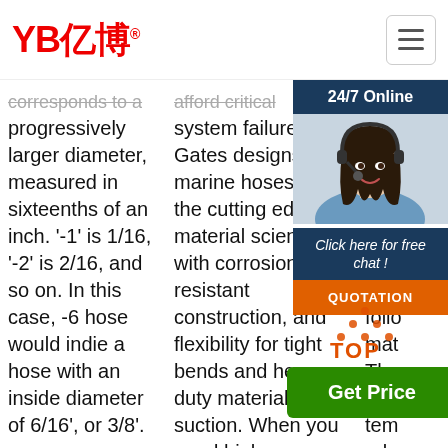YB亿博® [logo with hamburger menu]
corresponds to a progressively larger diameter, measured in sixteenths of an inch. '-1' is 1/16, '-2' is 2/16, and so on. In this case, -6 hose would indie a hose with an inside diameter of 6/16', or 3/8'.
Get Price
afford critical system failure. Gates designs our marine hoses at the cutting edge of material science, with corrosion-resistant construction, and flexibility for tight bends and heavy duty material suction. When you need high-performing, long-lasting solutions in marine fuel hose, coolant hose, heater hose systems, and ...
flexibility and suitability for different applications according to the following materials. The inner rubber has temperature rubber demands mats of both plastic and rubber.
[Figure (photo): Customer service representative woman with headset smiling, part of a 24/7 online chat widget overlay]
24/7 Online
Click here for free chat !
QUOTATION
Get Price
[Figure (illustration): TOP scroll-to-top button with orange dotted triangle arrow above text TOP]